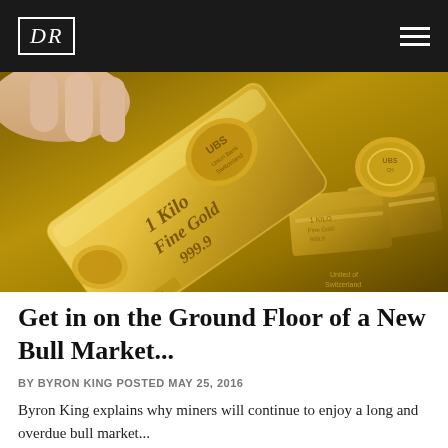DR
[Figure (photo): A hand holding a UBS 1 Kilo Fine Gold 999.9 gold bar, with additional gold bars in the background.]
Get in on the Ground Floor of a New Bull Market...
BY BYRON KING POSTED MAY 25, 2016
Byron King explains why miners will continue to enjoy a long and overdue bull market...